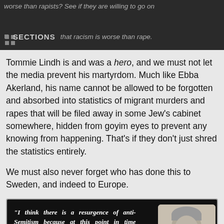worse than rapists? See if they are willing to go on
SECTIONS   that racism is worse than rape.
Tommie Lindh is and was a hero, and we must not let the media prevent his martyrdom. Much like Ebba Akerland, his name cannot be allowed to be forgotten and absorbed into statistics of migrant murders and rapes that will be filed away in some Jew’s cabinet somewhere, hidden from goyim eyes to prevent any knowing from happening. That’s if they don’t just shred the statistics entirely.
We must also never forget who has done this to Sweden, and indeed to Europe.
[Figure (photo): Dark background image with italic white text quote: “I think there is a resurgence of anti-Semitism because at this point in time Europe has not yet learned how to be multicultural.” alongside a photo of a person with grey hair.]